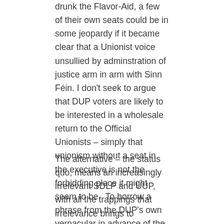drunk the Flavor-Aid, a few of their own seats could be in some jeopardy if it became clear that a Unionist voice unsullied by adminstration of justice arm in arm with Sinn Féin. I don't seek to argue that DUP voters are likely to be interested in a wholesale return to the Official Unionists – simply that unionism without a seat in the executive is not the forbidding place it might seem to be.  To borrow a phrase from the DUP's own vernacular in advance of the Belfast Agreement referendum – many more unionists might look at the political impasse and conclude that it might be right to say no.
The alternative – the status quo, means an increasingly irrelevant SDLP and UUP, with all the trappings that irrelevance brings to electoral results.